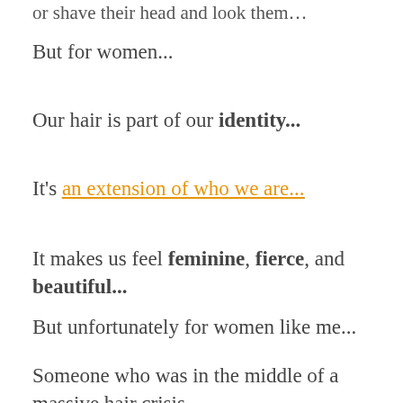or shave their head and look them…
But for women...
Our hair is part of our identity...
It's an extension of who we are...
It makes us feel feminine, fierce, and beautiful...
But unfortunately for women like me...
Someone who was in the middle of a massive hair crisis...
You get painted with a broad brush that you're just some old lady… who's past her